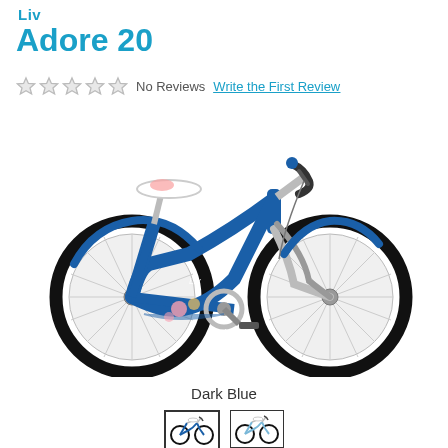Liv
Adore 20
No Reviews   Write the First Review
[Figure (photo): Liv Adore 20 children's bicycle in Dark Blue color, shown in profile view. The bike features a step-through cruiser frame, white saddle with floral detail, fenders, and 20-inch wheels with black tires.]
Dark Blue
[Figure (photo): Two small thumbnail images of the Liv Adore 20 bicycle showing color variants — dark blue and a lighter color variant.]